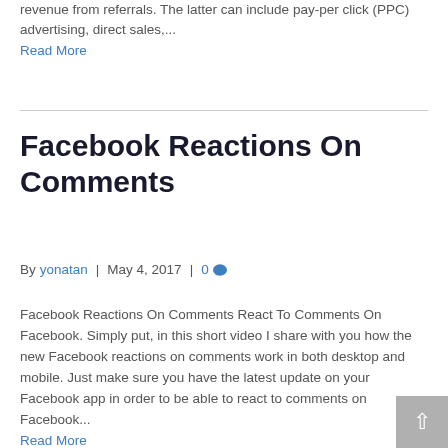revenue from referrals. The latter can include pay-per click (PPC) advertising, direct sales,...
Read More
Facebook Reactions On Comments
By yonatan | May 4, 2017 | 0
Facebook Reactions On Comments React To Comments On Facebook. Simply put, in this short video I share with you how the new Facebook reactions on comments work in both desktop and mobile. Just make sure you have the latest update on your Facebook app in order to be able to react to comments on Facebook...
Read More